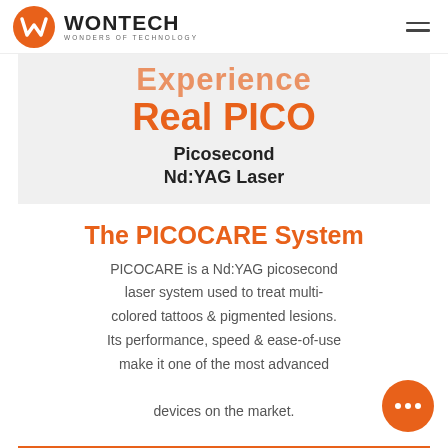[Figure (logo): WONTECH logo with orange W shield icon and text 'WONTECH WONDERS OF TECHNOLOGY']
Experience Real PICO
Picosecond Nd:YAG Laser
The PICOCARE System
PICOCARE is a Nd:YAG picosecond laser system used to treat multi-colored tattoos & pigmented lesions. Its performance, speed & ease-of-use make it one of the most advanced devices on the market.